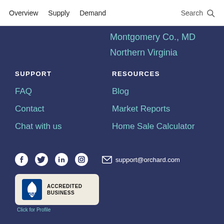Overview  Supply  Demand  Search
Montgomery Co., MD
Northern Virginia
SUPPORT
RESOURCES
FAQ
Blog
Contact
Market Reports
Chat with us
Home Sale Calculator
support@orchard.com
[Figure (logo): BBB Accredited Business badge with flame logo and 'Click for Profile' caption]